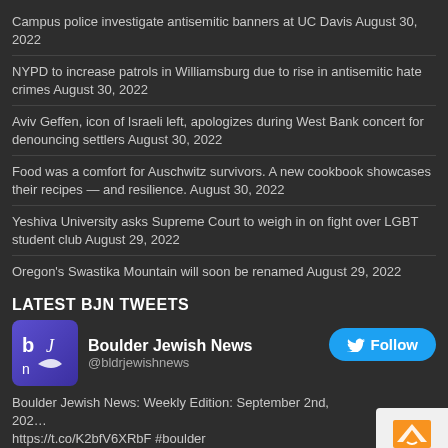Campus police investigate antisemitic banners at UC Davis August 30, 2022
NYPD to increase patrols in Williamsburg due to rise in antisemitic hate crimes August 30, 2022
Aviv Geffen, icon of Israeli left, apologizes during West Bank concert for denouncing settlers August 30, 2022
Food was a comfort for Auschwitz survivors. A new cookbook showcases their recipes — and resilience. August 30, 2022
Yeshiva University asks Supreme Court to weigh in on fight over LGBT student club August 29, 2022
Oregon's Swastika Mountain will soon be renamed August 29, 2022
LATEST BJN TWEETS
Boulder Jewish News @bldrjewishnews
Boulder Jewish News: Weekly Edition: September 2nd, 202… https://t.co/K2bfV6XRbF #boulder
about 3 hours ago